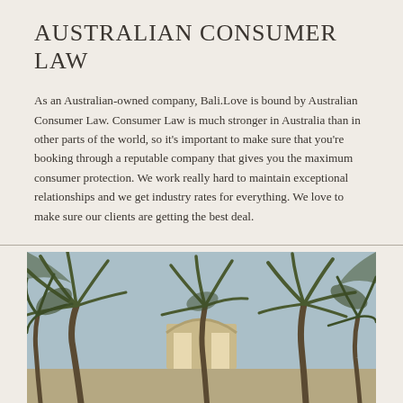AUSTRALIAN CONSUMER LAW
As an Australian-owned company, Bali.Love is bound by Australian Consumer Law. Consumer Law is much stronger in Australia than in other parts of the world, so it's important to make sure that you're booking through a reputable company that gives you the maximum consumer protection. We work really hard to maintain exceptional relationships and we get industry rates for everything. We love to make sure our clients are getting the best deal.
[Figure (photo): Outdoor photo showing tropical palm trees against a light blue sky, with what appears to be a structure or archway in the background. Warm earthy tones with lush palm fronds filling the frame.]